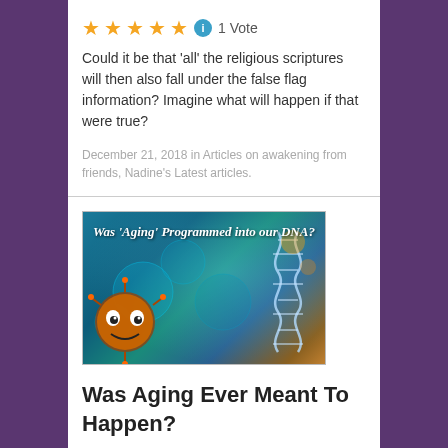★★★★★ ⓘ 1 Vote
Could it be that 'all' the religious scriptures will then also fall under the false flag information? Imagine what will happen if that were true?
December 21, 2018 in Articles on awakening from friends, Nadine's Latest articles.
[Figure (photo): Article thumbnail image showing a cartoon virus/blob character on the left side against a blue background with glowing cells, and a DNA double helix on the right side. Text overlay reads: Was 'Aging' Programmed into our DNA?]
Was Aging Ever Meant To Happen?
★★★★★ ⓘ 1 Vote